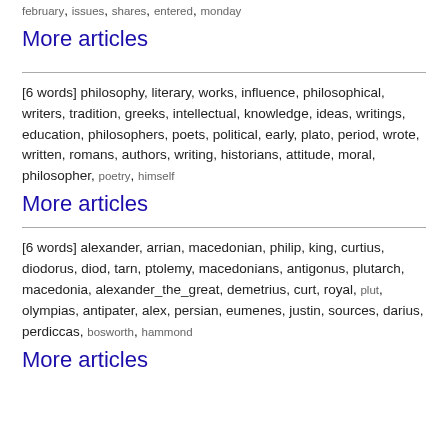membership, november, weekly, session, chairman, executive_committee, atlantic, states, transactions, officers, matter, philological, subscriptions, corporation, post_office, fund, dues, february, issues, shares, entered, monday
More articles
[6 words] philosophy, literary, works, influence, philosophical, writers, tradition, greeks, intellectual, knowledge, ideas, writings, education, philosophers, poets, political, early, plato, period, wrote, written, romans, authors, writing, historians, attitude, moral, philosopher, poetry, himself
More articles
[6 words] alexander, arrian, macedonian, philip, king, curtius, diodorus, diod, tarn, ptolemy, macedonians, antigonus, plutarch, macedonia, alexander_the_great, demetrius, curt, royal, plut, olympias, antipater, alex, persian, eumenes, justin, sources, darius, perdiccas, bosworth, hammond
More articles